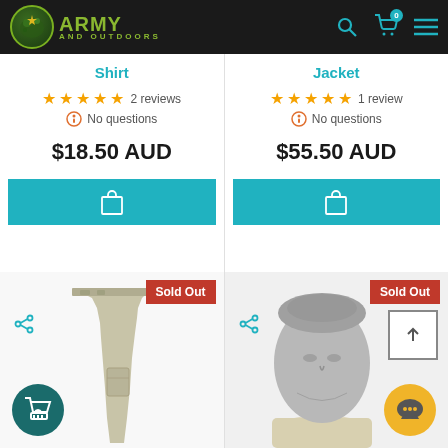Army and Outdoors — navigation header
Shirt
★★★★★ 2 reviews
No questions
$18.50 AUD
Jacket
★★★★★ 1 review
No questions
$55.50 AUD
[Figure (photo): Beige/tan cargo pants product photo with Sold Out badge]
[Figure (photo): Grey mannequin head with knit collar product photo with Sold Out badge]